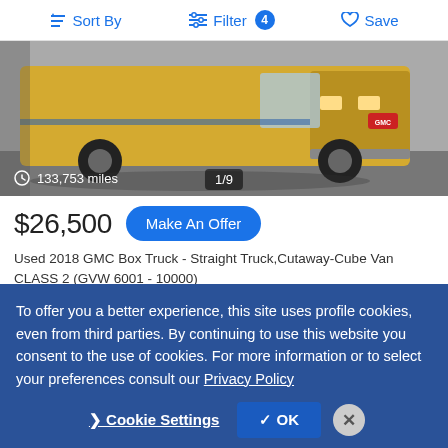Sort By | Filter 4 | Save
[Figure (photo): Yellow GMC Savana box truck photographed from the front-left angle in a parking area. Odometer badge shows 133,753 miles. Image counter shows 1/9.]
$26,500  Make An Offer
Used 2018 GMC Box Truck - Straight Truck,Cutaway-Cube Van CLASS 2 (GVW 6001 - 10000)
SAVANA G3500
PENSKE USED TRUCKS - MEMPHIS, TN - Website
Memphis, TN
To offer you a better experience, this site uses profile cookies, even from third parties. By continuing to use this website you consent to the use of cookies. For more information or to select your preferences consult our Privacy Policy
Cookie Settings  ✓ OK  ✕